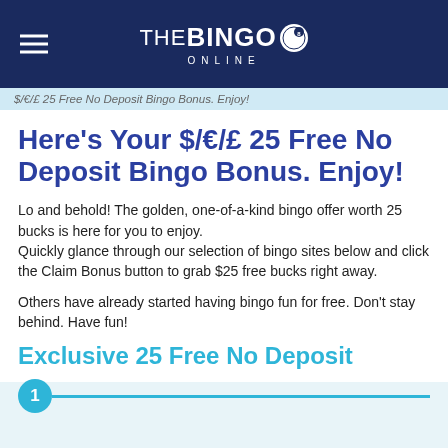THE BINGO ONLINE
$/€/£ 25 Free No Deposit Bingo Bonus. Enjoy!
Here's Your $/€/£ 25 Free No Deposit Bingo Bonus. Enjoy!
Lo and behold! The golden, one-of-a-kind bingo offer worth 25 bucks is here for you to enjoy. Quickly glance through our selection of bingo sites below and click the Claim Bonus button to grab $25 free bucks right away.
Others have already started having bingo fun for free. Don't stay behind. Have fun!
Exclusive 25 Free No Deposit